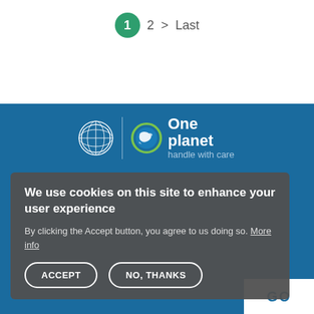1  2  >  Last
[Figure (logo): UN logo and One Planet handle with care logo on blue background]
We use cookies on this site to enhance your user experience
By clicking the Accept button, you agree to us doing so. More info
ACCEPT   NO, THANKS
GO